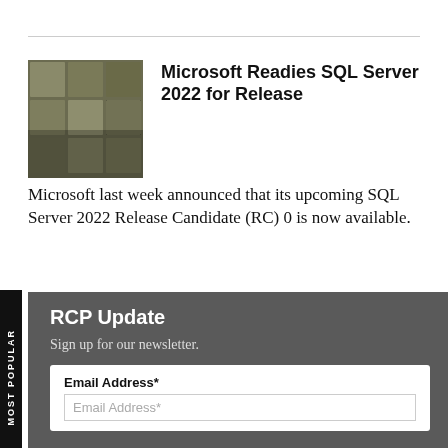[Figure (photo): Thumbnail photo of stacked grey/beige blocks or tiles arranged in a grid-like pattern]
Microsoft Readies SQL Server 2022 for Release
Microsoft last week announced that its upcoming SQL Server 2022 Release Candidate (RC) 0 is now available.
RCP Update
Sign up for our newsletter.
Email Address*